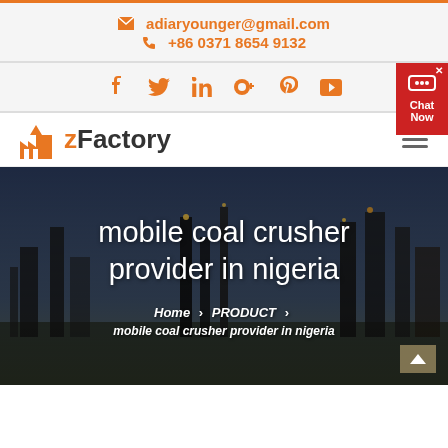adiaryounger@gmail.com | +86 0371 8654 9132
[Figure (other): Social media icons: Facebook, Twitter, LinkedIn, Google+, Pinterest, YouTube]
[Figure (logo): zFactory logo with orange factory icon and bold text]
[Figure (photo): Industrial facility/refinery at dusk with text overlay 'mobile coal crusher provider in nigeria' and breadcrumb navigation]
mobile coal crusher provider in nigeria
Home > PRODUCT > mobile coal crusher provider in nigeria